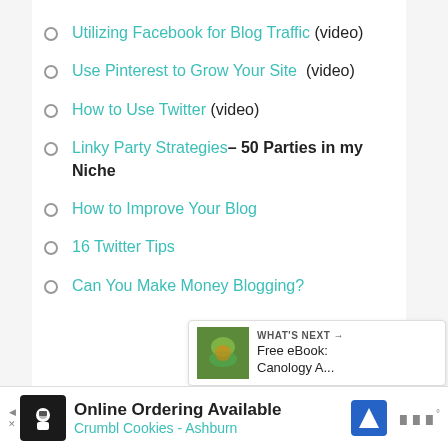Utilizing Facebook for Blog Traffic (video)
Use Pinterest to Grow Your Site (video)
How to Use Twitter (video)
Linky Party Strategies– 50 Parties in my Niche
How to Improve Your Blog
16 Twitter Tips
Can You Make Money Blogging?
[Figure (infographic): Heart/like button (teal circle with heart icon) with count 20, and share button below]
[Figure (infographic): What's Next panel with thumbnail image and text: Free eBook: Canology A...]
[Figure (infographic): Advertisement banner: Online Ordering Available, Crumbl Cookies - Ashburn]